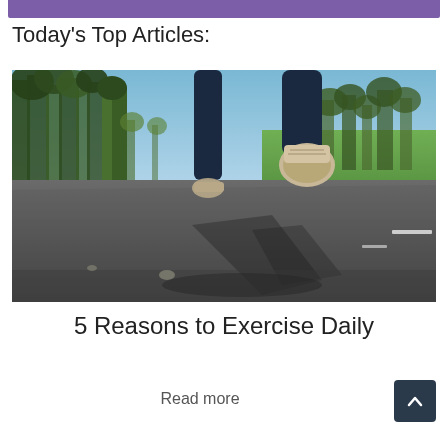Today's Top Articles:
[Figure (photo): Person running on a road in a park, viewed from low angle showing legs and shoes mid-stride, with trees and blue sky in background.]
5 Reasons to Exercise Daily
Read more